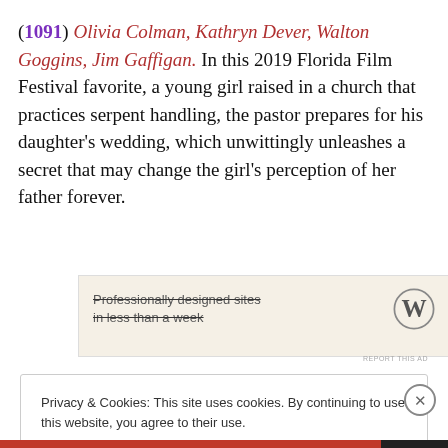(1091) Olivia Colman, Kathryn Dever, Walton Goggins, Jim Gaffigan. In this 2019 Florida Film Festival favorite, a young girl raised in a church that practices serpent handling, the pastor prepares for his daughter's wedding, which unwittingly unleashes a secret that may change the girl's perception of her father forever.
[Figure (other): WordPress advertisement banner: 'Professionally designed sites in less than a week' with WordPress W logo]
REPORT THIS AD
Privacy & Cookies: This site uses cookies. By continuing to use this website, you agree to their use. To find out more, including how to control cookies, see here: Cookie Policy